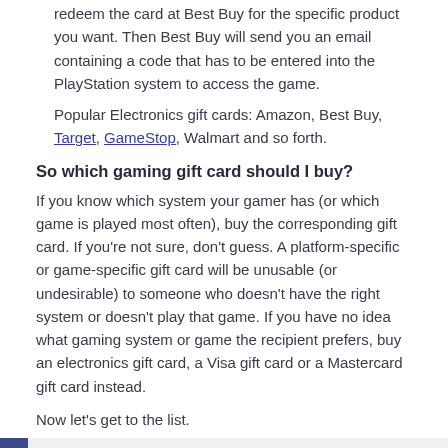redeem the card at Best Buy for the specific product you want. Then Best Buy will send you an email containing a code that has to be entered into the PlayStation system to access the game.
Popular Electronics gift cards: Amazon, Best Buy, Target, GameStop, Walmart and so forth.
So which gaming gift card should I buy?
If you know which system your gamer has (or which game is played most often), buy the corresponding gift card. If you're not sure, don't guess. A platform-specific or game-specific gift card will be unusable (or undesirable) to someone who doesn't have the right system or doesn't play that game. If you have no idea what gaming system or game the recipient prefers, buy an electronics gift card, a Visa gift card or a Mastercard gift card instead.
Now let's get to the list.